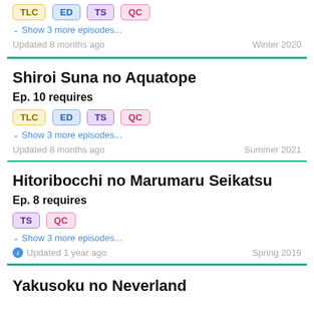TLC ED TS QC
Show 3 more episodes...
Updated 8 months ago   Winter 2020
Shiroi Suna no Aquatope
Ep. 10 requires
TLC ED TS QC
Show 3 more episodes...
Updated 8 months ago   Summer 2021
Hitoribocchi no Marumaru Seikatsu
Ep. 8 requires
TS QC
Show 3 more episodes...
Updated 1 year ago   Spring 2019
Yakusoku no Neverland